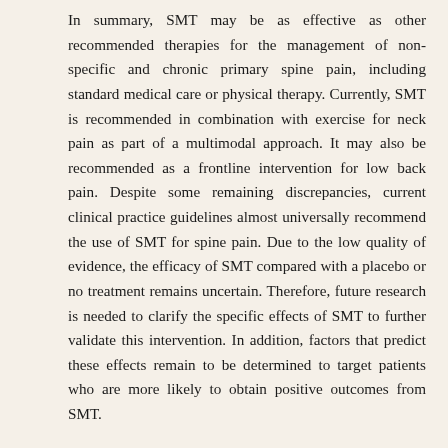In summary, SMT may be as effective as other recommended therapies for the management of non-specific and chronic primary spine pain, including standard medical care or physical therapy. Currently, SMT is recommended in combination with exercise for neck pain as part of a multimodal approach. It may also be recommended as a frontline intervention for low back pain. Despite some remaining discrepancies, current clinical practice guidelines almost universally recommend the use of SMT for spine pain. Due to the low quality of evidence, the efficacy of SMT compared with a placebo or no treatment remains uncertain. Therefore, future research is needed to clarify the specific effects of SMT to further validate this intervention. In addition, factors that predict these effects remain to be determined to target patients who are more likely to obtain positive outcomes from SMT.